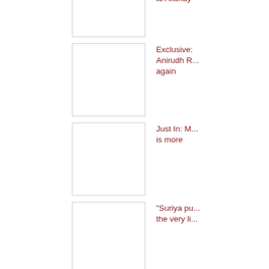[Figure (photo): Thumbnail image placeholder - news article about Akshay]
to Akshay
[Figure (photo): Thumbnail image placeholder - news article about Anirudh R]
Exclusive: Anirudh R... again
[Figure (photo): Thumbnail image placeholder - news article Just In: M... is no more]
Just In: M... is no more
[Figure (photo): Thumbnail image placeholder - Suriya article]
"Suriya pu... the very li...
[Figure (photo): Thumbnail image placeholder - Ajith article]
Ajith pred...
[Figure (photo): Thumbnail image placeholder - July 24th article]
July 24th ... step for T...